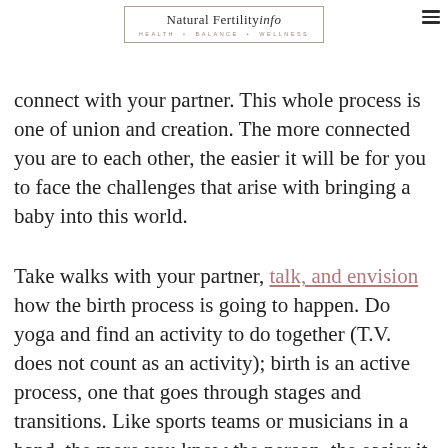Natural Fertility info — HEALTH • BALANCE • WELLNESS
connect with your partner. This whole process is one of union and creation. The more connected you are to each other, the easier it will be for you to face the challenges that arise with bringing a baby into this world.
Take walks with your partner, talk, and envision how the birth process is going to happen. Do yoga and find an activity to do together (T.V. does not count as an activity); birth is an active process, one that goes through stages and transitions. Like sports teams or musicians in a band, the more you know the person, the easier it is to listen and anticipate what they